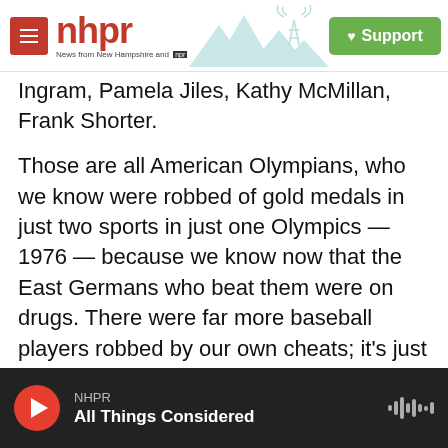NHPR — News from New Hampshire and NPR | Support
Ingram, Pamela Jiles, Kathy McMillan, Frank Shorter.
Those are all American Olympians, who we know were robbed of gold medals in just two sports in just one Olympics — 1976 — because we know now that the East Germans who beat them were on drugs. There were far more baseball players robbed by our own cheats; it's just impossible to pinpoint in a team sport. The baseball writers should remember those Olympians; from that sample, extrapolate the many baseball innocent who were hurt. Honor them.
NHPR — All Things Considered